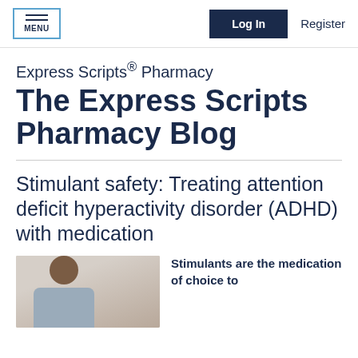MENU | Log In | Register
Express Scripts® Pharmacy
The Express Scripts Pharmacy Blog
Stimulant safety: Treating attention deficit hyperactivity disorder (ADHD) with medication
[Figure (photo): A person smiling, appearing to be in a medical or home setting]
Stimulants are the medication of choice to